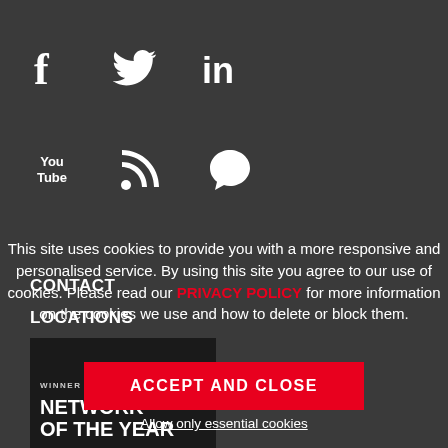[Figure (infographic): Social media icons row 1: Facebook (f), Twitter (bird icon), LinkedIn (in)]
[Figure (infographic): Social media icons row 2: YouTube (You Tube text), RSS (wifi-like icon), Chat/location bubble icon]
CONTACT
LOCATIONS
Legal & Privacy
Sitemap
Copyright © 2022
This site uses cookies to provide you with a more responsive and personalised service. By using this site you agree to our use of cookies. Please read our PRIVACY POLICY for more information on the cookies we use and how to delete or block them.
ACCEPT AND CLOSE
Allow only essential cookies
[Figure (photo): Award image: WINNER badge at top, text 'NETWORK OF THE YEAR' in large bold white letters on dark background]